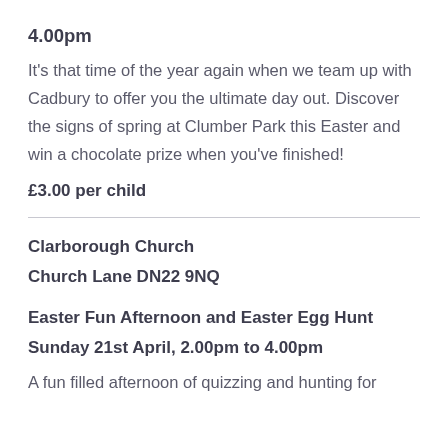4.00pm
It's that time of the year again when we team up with Cadbury to offer you the ultimate day out. Discover the signs of spring at Clumber Park this Easter and win a chocolate prize when you've finished!
£3.00 per child
Clarborough Church
Church Lane DN22 9NQ
Easter Fun Afternoon and Easter Egg Hunt
Sunday 21st April, 2.00pm to 4.00pm
A fun filled afternoon of quizzing and hunting for